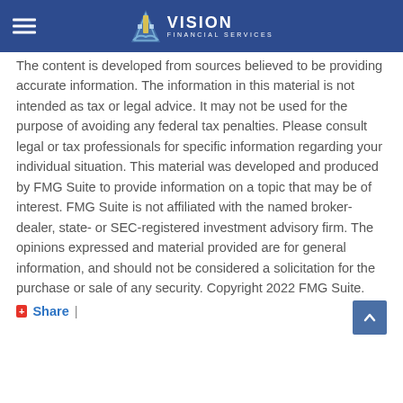Vision Financial Services
The content is developed from sources believed to be providing accurate information. The information in this material is not intended as tax or legal advice. It may not be used for the purpose of avoiding any federal tax penalties. Please consult legal or tax professionals for specific information regarding your individual situation. This material was developed and produced by FMG Suite to provide information on a topic that may be of interest. FMG Suite is not affiliated with the named broker-dealer, state- or SEC-registered investment advisory firm. The opinions expressed and material provided are for general information, and should not be considered a solicitation for the purchase or sale of any security. Copyright 2022 FMG Suite.
Share |